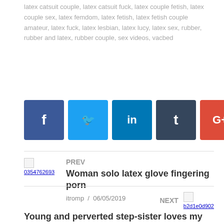latex catsuit couple, latex catsuit fuck, latex couple fetish, latex couple sex, latex femdom, latex fetish, latex fetish couple amateur, latex fuck, latex lesbian, latex lucy, latex sex, rubber, rubber and latex, rubber couple, sex videos, vacbed
[Figure (infographic): Social media share buttons: Facebook (blue), Twitter (light blue), LinkedIn (blue), Tumblr (dark navy), Google+ (red), Pinterest (dark red), VK (black), Email (green)]
PREV
Woman solo latex glove fingering porn
itromp / 06/05/2019
NEXT
Young and perverted step-sister loves my co...
itromp / 06/05/2019